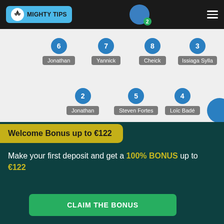MIGHTY TIPS
[Figure (infographic): Football lineup diagram showing players with jersey numbers: Row 1: 6 Jonathan, 7 Yannick, 8 Cheick, 3 Issiaga Sylla. Row 2: 2 Jonathan, 5 Steven Fortes, 4 Loïc Badé]
Welcome Bonus up to €122
Make your first deposit and get a 100% BONUS up to €122
CLAIM THE BONUS